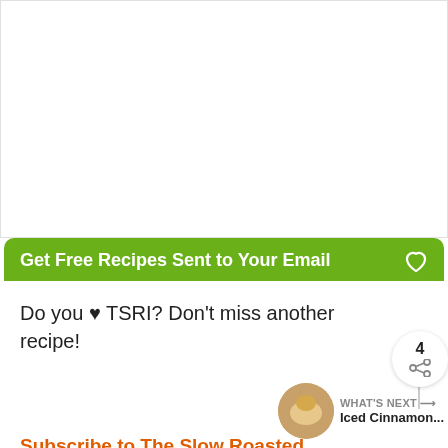[Figure (other): White blank area at top of page, representing image placeholder]
Get Free Recipes Sent to Your Email
Do you ♥ TSRI? Don't miss another recipe!
Subscribe to The Slow Roasted